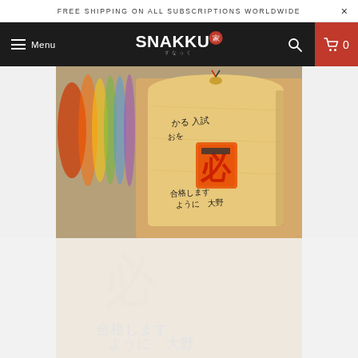FREE SHIPPING ON ALL SUBSCRIPTIONS WORLDWIDE
SNAKKU Menu
[Figure (photo): Close-up photo of a Japanese ema (wooden wishing plaque) with Japanese calligraphy and an orange stamp/seal character, hung with colorful ribbons in the background at what appears to be a shrine or shop.]